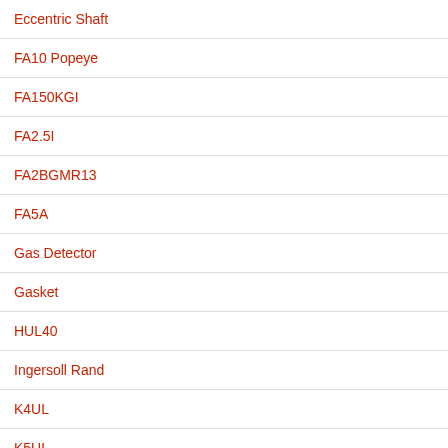Eccentric Shaft
FA10 Popeye
FA150KGI
FA2.5I
FA2BGMR13
FA5A
Gas Detector
Gasket
HUL40
Ingersoll Rand
K4UL
K5UL